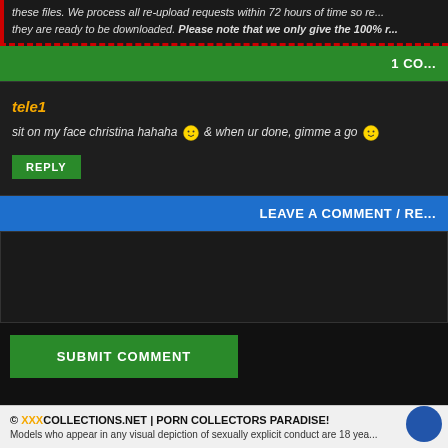these files. We process all re-upload requests within 72 hours of time so re... they are ready to be downloaded. Please note that we only give the 100% r...
1 CO...
tele1
sit on my face christina hahaha 🙂 & when ur done, gimme a go 🙂
REPLY
LEAVE A COMMENT / RE...
SUBMIT COMMENT
© XXXCOLLECTIONS.NET | PORN COLLECTORS PARADISE! Models who appear in any visual depiction of sexually explicit conduct are 18 yea...